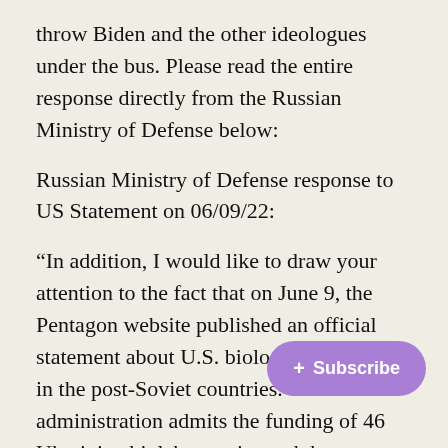throw Biden and the other ideologues under the bus. Please read the entire response directly from the Russian Ministry of Defense below:
Russian Ministry of Defense response to US Statement on 06/09/22:
“In addition, I would like to draw your attention to the fact that on June 9, the Pentagon website published an official statement about U.S. biological activities in the post-Soviet countries. The U.S. administration admits the funding of 46 Ukrainian biolaboratories and the relations between the U.S. Department of Defence and the Scientific-Technological Centre of Ukraine (STCU).
“At the same time, it reflects the peculiarities of the implementation of the Nunn-Lugar joint threat reduction programme in the post-Soviet countries, one of the